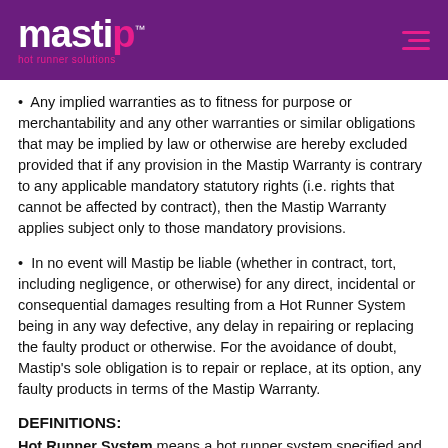mastip™ hot runner solutions
Any implied warranties as to fitness for purpose or merchantability and any other warranties or similar obligations that may be implied by law or otherwise are hereby excluded provided that if any provision in the Mastip Warranty is contrary to any applicable mandatory statutory rights (i.e. rights that cannot be affected by contract), then the Mastip Warranty applies subject only to those mandatory provisions.
In no event will Mastip be liable (whether in contract, tort, including negligence, or otherwise) for any direct, incidental or consequential damages resulting from a Hot Runner System being in any way defective, any delay in repairing or replacing the faulty product or otherwise. For the avoidance of doubt, Mastip's sole obligation is to repair or replace, at its option, any faulty products in terms of the Mastip Warranty.
DEFINITIONS:
Hot Runner System means a hot runner system specified and supplied by Mastip. It may include hot half plates, manifolds, nozzles, nozzle assemblies, electrical components and